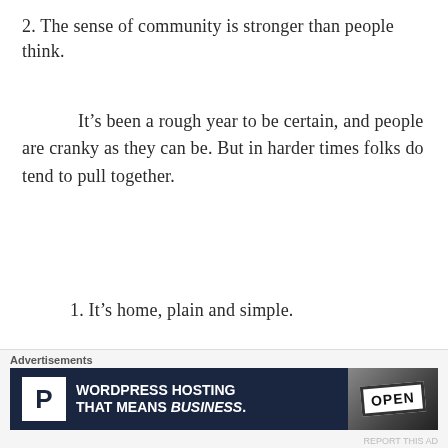2. The sense of community is stronger than people think.
It’s been a rough year to be certain, and people are cranky as they can be. But in harder times folks do tend to pull together.
1. It’s home, plain and simple.
That’s about the size of it, and we’re proud to call this place home.
Advertisements — WordPress Hosting That Means Business.